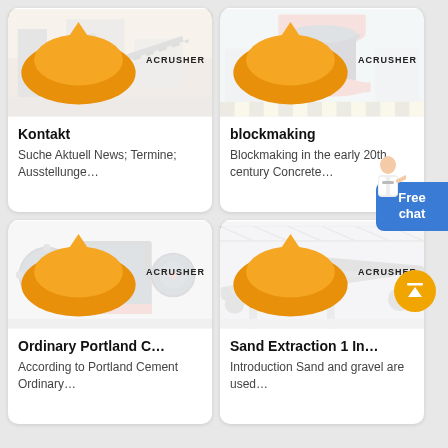[Figure (photo): Industrial crushing/conveyor facility with ACRUSHER logo — card image top left]
Kontakt
Suche Aktuell News; Termine; Ausstellunge…
[Figure (photo): Large industrial cone crusher machine in factory with ACRUSHER logo — card image top right]
blockmaking
Blockmaking in the early 20th century Concrete…
[Figure (photo): Jaw crusher machine in factory with ACRUSHER logo — card image bottom left]
Ordinary Portland C…
According to Portland Cement Ordinary…
[Figure (photo): Industrial conveyor/belt equipment in factory with ACRUSHER logo — card image bottom right]
Sand Extraction 1 In…
Introduction Sand and gravel are used…